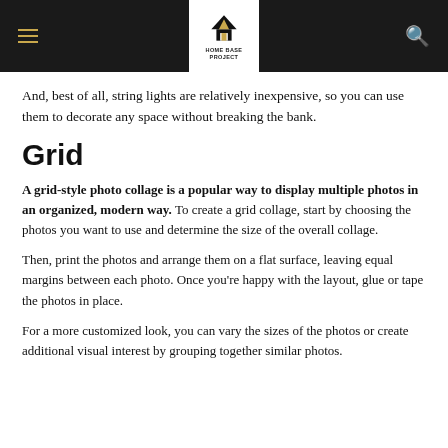HOME BASE PROJECT
And, best of all, string lights are relatively inexpensive, so you can use them to decorate any space without breaking the bank.
Grid
A grid-style photo collage is a popular way to display multiple photos in an organized, modern way. To create a grid collage, start by choosing the photos you want to use and determine the size of the overall collage.
Then, print the photos and arrange them on a flat surface, leaving equal margins between each photo. Once you're happy with the layout, glue or tape the photos in place.
For a more customized look, you can vary the sizes of the photos or create additional visual interest by grouping together similar photos.